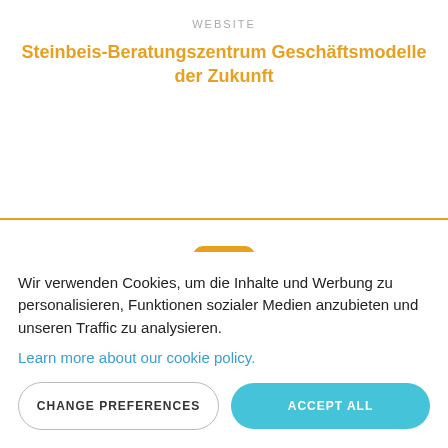WEBSITE
Steinbeis-Beratungszentrum Geschäftsmodelle der Zukunft
[Figure (logo): LinkedIn logo icon — white 'in' letters on an orange/amber rounded square background]
LINKEDIN
Wir verwenden Cookies, um die Inhalte und Werbung zu personalisieren, Funktionen sozialer Medien anzubieten und unseren Traffic zu analysieren.
Learn more about our cookie policy.
CHANGE PREFERENCES
ACCEPT ALL